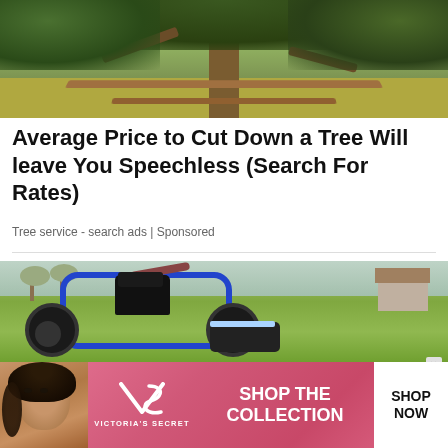[Figure (photo): Photo of the base of a large tree with a wooden fence structure around it, green and brown foliage in background]
Average Price to Cut Down a Tree Will leave You Speechless (Search For Rates)
Tree service - search ads | Sponsored
[Figure (photo): Photo of a blue motorized off-road wheelchair/mobility vehicle with large tires on a green lawn, with trees and houses in the background]
[Figure (photo): Victoria's Secret advertisement banner with a model, VS logo, text 'SHOP THE COLLECTION', and a white 'SHOP NOW' button]